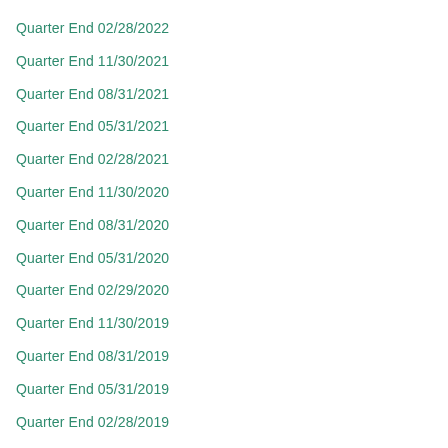Quarter End 02/28/2022
Quarter End 11/30/2021
Quarter End 08/31/2021
Quarter End 05/31/2021
Quarter End 02/28/2021
Quarter End 11/30/2020
Quarter End 08/31/2020
Quarter End 05/31/2020
Quarter End 02/29/2020
Quarter End 11/30/2019
Quarter End 08/31/2019
Quarter End 05/31/2019
Quarter End 02/28/2019